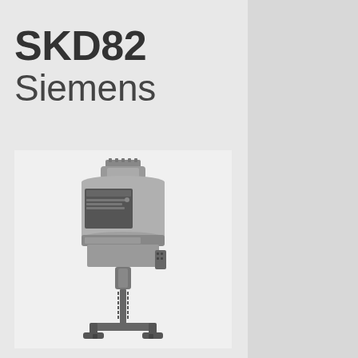SKD82
Siemens
[Figure (photo): Siemens SKD82 electromechanical rotary actuator with gear coupling and mounting clamp bracket at the bottom, shown in dark grey/anthracite color]